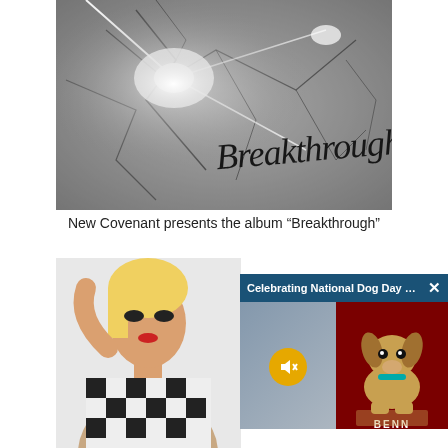[Figure (photo): Album cover image for 'Breakthrough' - cracked stone/concrete texture in black and white with lightning bolt flashes of white light, and cursive text reading 'Breakthrough' in the lower right portion of the image]
New Covenant presents the album “Breakthrough”
[Figure (screenshot): Screenshot of a webpage showing a photo of a blonde woman in a checkered black and white dress on the left, with an overlaid advertisement for 'Celebrating National Dog Day With ...' showing a small Yorkshire Terrier dog with 'BENN' text visible, and a mute button icon]
Celebrating National Dog Day With ...
BENN